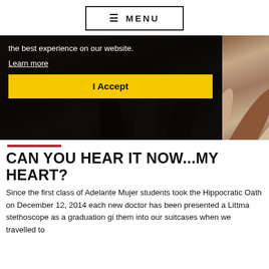≡ MENU
[Figure (photo): Diverse hands raised together in unity, with a cookie consent overlay on the left side containing text about best experience on website, a Learn more link, and an I Accept button.]
the best experience on our website.
Learn more
I Accept
CAN YOU HEAR IT NOW...MY HEART?
Since the first class of Adelante Mujer students took the Hippocratic Oath on December 12, 2014 each new doctor has been presented a Littma stethoscope as a graduation gi them into our suitcases when we travelled to